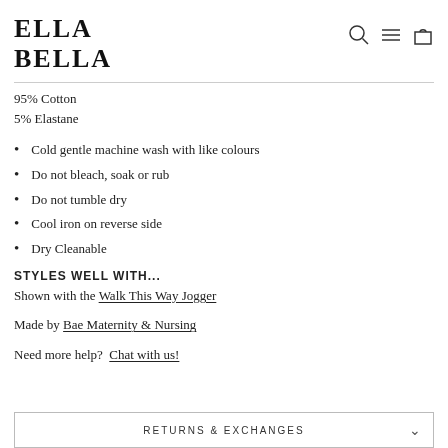ELLA BELLA
95% Cotton
5% Elastane
Cold gentle machine wash with like colours
Do not bleach, soak or rub
Do not tumble dry
Cool iron on reverse side
Dry Cleanable
STYLES WELL WITH...
Shown with the Walk This Way Jogger
Made by Bae Maternity & Nursing
Need more help?  Chat with us!
RETURNS & EXCHANGES